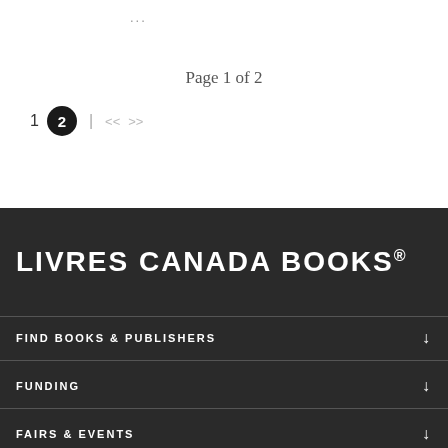...
Page 1 of 2
1  2  |  <<  >>
LIVRES CANADA BOOKS®
FIND BOOKS & PUBLISHERS
FUNDING
FAIRS & EVENTS